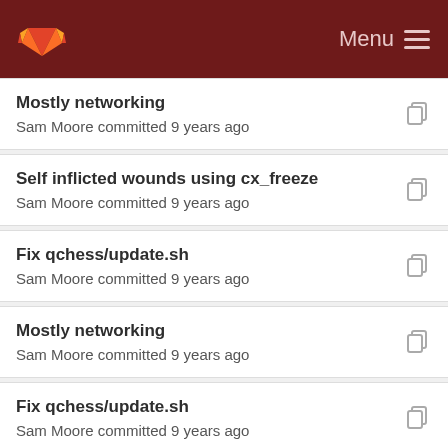GitLab — Menu
Mostly networking
Sam Moore committed 9 years ago
Self inflicted wounds using cx_freeze
Sam Moore committed 9 years ago
Fix qchess/update.sh
Sam Moore committed 9 years ago
Mostly networking
Sam Moore committed 9 years ago
Fix qchess/update.sh
Sam Moore committed 9 years ago